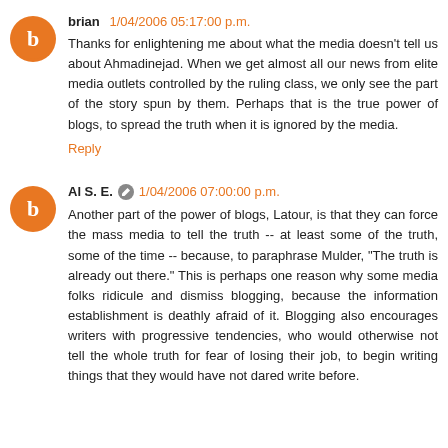brian 1/04/2006 05:17:00 p.m.
Thanks for enlightening me about what the media doesn't tell us about Ahmadinejad. When we get almost all our news from elite media outlets controlled by the ruling class, we only see the part of the story spun by them. Perhaps that is the true power of blogs, to spread the truth when it is ignored by the media.
Reply
Al S. E. 1/04/2006 07:00:00 p.m.
Another part of the power of blogs, Latour, is that they can force the mass media to tell the truth -- at least some of the truth, some of the time -- because, to paraphrase Mulder, "The truth is already out there." This is perhaps one reason why some media folks ridicule and dismiss blogging, because the information establishment is deathly afraid of it. Blogging also encourages writers with progressive tendencies, who would otherwise not tell the whole truth for fear of losing their job, to begin writing things that they would have not dared write before.